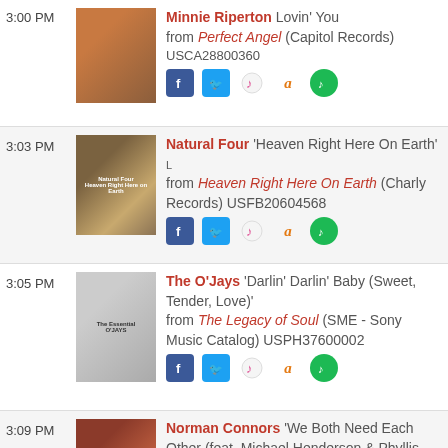3:00 PM — Minnie Riperton 'Lovin' You' from Perfect Angel (Capitol Records) USCA28800360
3:03 PM — Natural Four 'Heaven Right Here On Earth' from Heaven Right Here On Earth (Charly Records) USFB20604568
3:05 PM — The O'Jays 'Darlin' Darlin' Baby (Sweet, Tender, Love)' from The Legacy of Soul (SME - Sony Music Catalog) USPH37600002
3:09 PM — Norman Connors 'We Both Need Each Other (feat. Michael Henderson & Phyllis Hyman)'